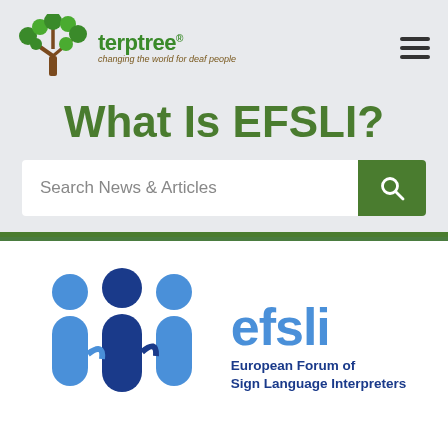[Figure (logo): Terptree logo: tree with green leaf hands and brown trunk, green text 'terptree' with registered mark, tagline 'changing the world for deaf people']
What Is EFSLI?
Search News & Articles
[Figure (logo): EFSLI logo: three stylized blue figures representing sign language interpreters, with text 'efsli' in blue and subtitle 'European Forum of Sign Language Interpreters']